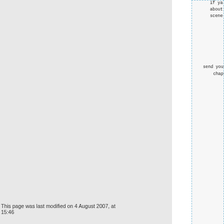if ya got something you want me to about or something you want to te scene then this is the place.
send your article or request for chapter or for other cool stu
to
BIZ KID/BLAZE/OZONE
XXXXXXXXXXXXXX
XXXXXXXXXXXXXX
XXXXXXXXXXXXXX
XXXXXXXXXXXXXX
This page was last modified on 4 August 2007, at 15:46